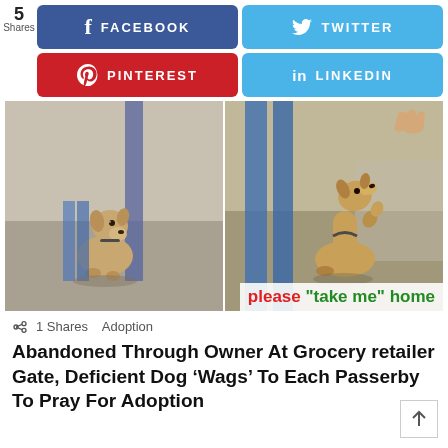[Figure (screenshot): Social media share buttons: Facebook (5 shares), Twitter, Pinterest, LinkedIn]
[Figure (photo): Two side-by-side video stills of a small dog sitting and looking up at passersby at a grocery store gate. Overlay text reads: please "take me" home]
1 Shares   Adoption
Abandoned Through Owner At Grocery retailer Gate, Deficient Dog ‘Wags’ To Each Passerby To Pray For Adoption